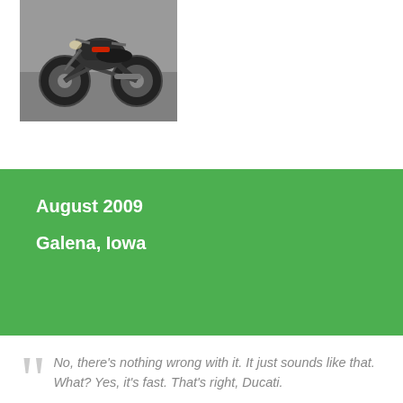[Figure (photo): Photograph of a motorcycle (appears to be a Ducati) parked on a gravel or asphalt surface, shot from the front-left angle. The image is partially cropped at the top.]
August 2009

Galena, Iowa
No, there's nothing wrong with it. It just sounds like that. What? Yes, it's fast. That's right, Ducati.
That was me explaining to another rider at a rural